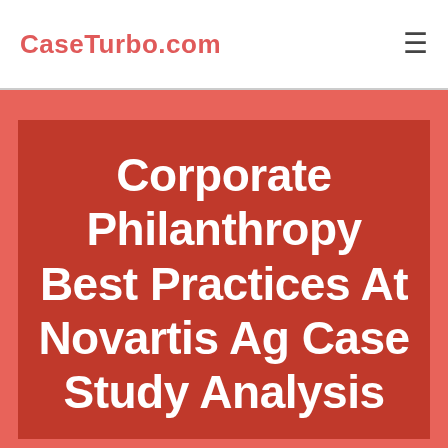CaseTurbo.com
Corporate Philanthropy Best Practices At Novartis Ag Case Study Analysis